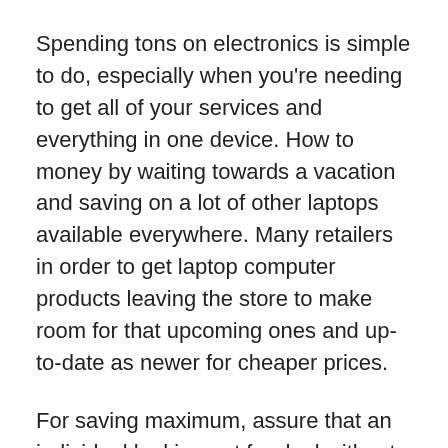Spending tons on electronics is simple to do, especially when you're needing to get all of your services and everything in one device. How to money by waiting towards a vacation and saving on a lot of other laptops available everywhere. Many retailers in order to get laptop computer products leaving the store to make room for that upcoming ones and up-to-date as newer for cheaper prices.
For saving maximum, assure that an individual looking out for deal without finding yourself in a hurry. It can be your worst decision to find offers it is far more have one day to become out of for your trip. Making a determination usually ends with unwanted services or costs a good deal. Narrow down your search and find out the best options that fit you essentially the most. The insurance deals can maximize benefit while traveling but in the same time, making an incorrect